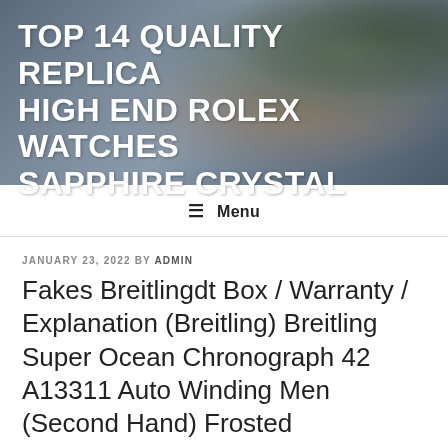[Figure (photo): Header background photo of a dark vase with plant on a wooden surface, used as website banner background]
TOP 14 QUALITY REPLICA HIGH END ROLEX WATCHES SAPPHIRE CRYSTAL
☰ Menu
JANUARY 23, 2022 BY ADMIN
Fakes Breitlingdt Box / Warranty / Explanation (Breitling) Breitling Super Ocean Chronograph 42 A13311 Auto Winding Men (Second Hand) Frosted
Fakes Breitlingdt Box / Warranty /